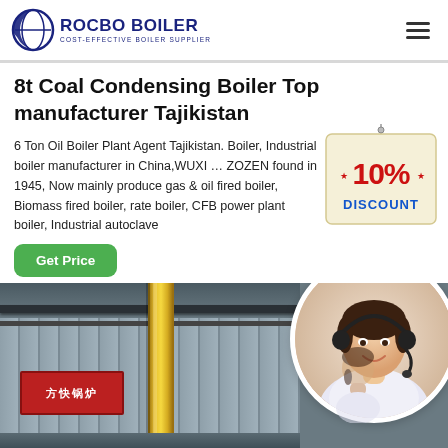ROCBO BOILER — COST-EFFECTIVE BOILER SUPPLIER
8t Coal Condensing Boiler Top manufacturer Tajikistan
6 Ton Oil Boiler Plant Agent Tajikistan. Boiler, Industrial boiler manufacturer in China,WUXI … ZOZEN found in 1945, Now mainly produce gas & oil fired boiler, Biomass fired boiler, rate boiler, CFB power plant boiler, Industrial autoclave
[Figure (illustration): 10% DISCOUNT promotional badge/sticker]
[Figure (photo): Industrial boiler facility interior with metal wall panels and yellow pipe, alongside a circular inset photo of a customer service representative wearing a headset]
Get Price